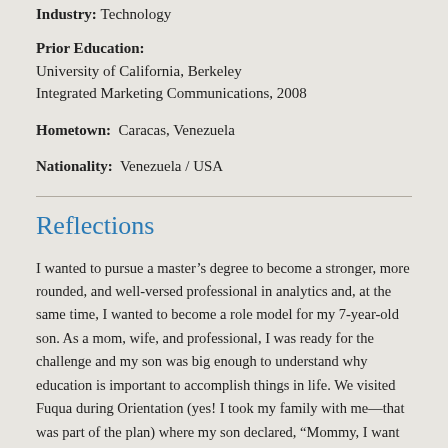Industry: Technology
Prior Education:
University of California, Berkeley
Integrated Marketing Communications, 2008
Hometown:  Caracas, Venezuela
Nationality:  Venezuela / USA
Reflections
I wanted to pursue a master’s degree to become a stronger, more rounded, and well-versed professional in analytics and, at the same time, I wanted to become a role model for my 7-year-old son. As a mom, wife, and professional, I was ready for the challenge and my son was big enough to understand why education is important to accomplish things in life. We visited Fuqua during Orientation (yes! I took my family with me—that was part of the plan) where my son declared, “Mommy, I want